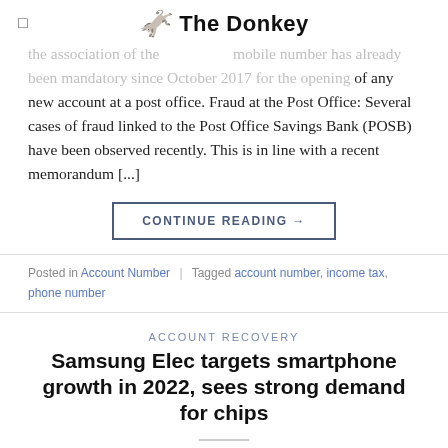The Donkey
the association of the mobile number has already been mandatory since October 2017 for the opening of any new account at a post office. Fraud at the Post Office: Several cases of fraud linked to the Post Office Savings Bank (POSB) have been observed recently. This is in line with a recent memorandum [...]
CONTINUE READING →
Posted in Account Number | Tagged account number, income tax, phone number
ACCOUNT RECOVERY
Samsung Elec targets smartphone growth in 2022, sees strong demand for chips